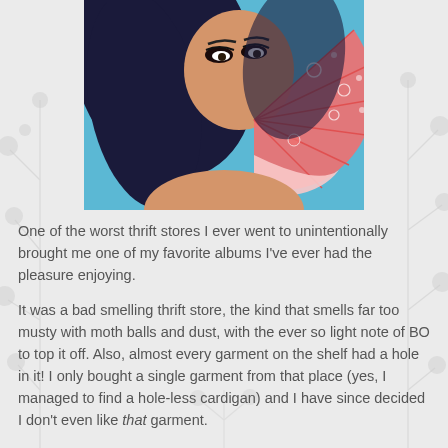[Figure (photo): A woman with long dark blue hair holding a pink/coral decorative hand fan up to cover the lower half of her face, against a blue background.]
One of the worst thrift stores I ever went to unintentionally brought me one of my favorite albums I've ever had the pleasure enjoying.
It was a bad smelling thrift store, the kind that smells far too musty with moth balls and dust, with the ever so light note of BO to top it off. Also, almost every garment on the shelf had a hole in it! I only bought a single garment from that place (yes, I managed to find a hole-less cardigan) and I have since decided I don't even like that garment.
But while I was in that store, I heard a pleasant sounding